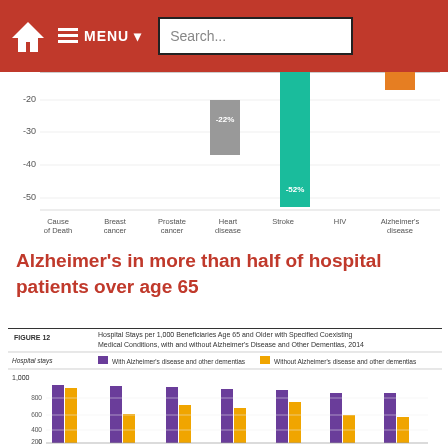MENU Search...
[Figure (bar-chart): Top portion of a bar chart showing negative percentage changes. Y-axis shows values -20, -30, -40, -50. X-axis labels: Cause of Death, Breast cancer, Prostate cancer, Heart disease, Stroke, HIV, Alzheimer's disease. Visible bars: Stroke -22% (gray), HIV -52% (teal), and partial orange bar for Alzheimer's.]
Alzheimer's in more than half of hospital patients over age 65
[Figure (grouped-bar-chart): Hospital Stays per 1,000 Beneficiaries Age 65 and Older with Specified Coexisting Medical Conditions, with and without Alzheimer's Disease and Other Dementias, 2014]